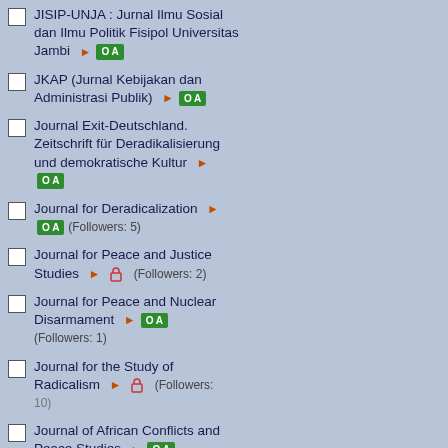JISIP-UNJA : Jurnal Ilmu Sosial dan Ilmu Politik Fisipol Universitas Jambi [OA]
JKAP (Jurnal Kebijakan dan Administrasi Publik) [OA]
Journal Exit-Deutschland. Zeitschrift für Deradikalisierung und demokratische Kultur [OA]
Journal for Deradicalization [OA] (Followers: 5)
Journal for Peace and Justice Studies (Followers: 2)
Journal for Peace and Nuclear Disarmament [OA] (Followers: 1)
Journal for the Study of Radicalism (Followers: 10)
Journal of African Conflicts and Peace Studies [OA] (Followers: 10)
Journal of APF Command and Staff College
writings on the care responsibility to the C identities are freque may necessitate som and there were occas research provides a relations of power ca nurture, care and res
Citation: Human Re PubDate: 2022-05-0 DOI: 10.1177/00187
Narratives of workp
Free pre-print v
Authors: Liela A Jan Abstract: Human Re Despite considerable past two decades, re societal challenges th and negotiate with/ag women leaders resist organizational narrati resistance as located advances the literat analysis; (2) we add agency/resistance as limits of the liberal im non-Western contex Citation: Human Re